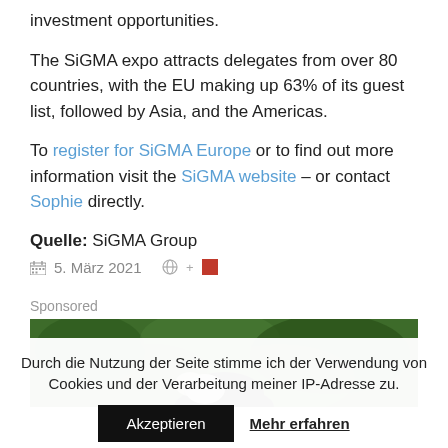investment opportunities.
The SiGMA expo attracts delegates from over 80 countries, with the EU making up 63% of its guest list, followed by Asia, and the Americas.
To register for SiGMA Europe or to find out more information visit the SiGMA website – or contact Sophie directly.
Quelle: SiGMA Group
5. März 2021
Sponsored
[Figure (photo): Photo of a person outdoors with green foliage background, partially visible]
Durch die Nutzung der Seite stimme ich der Verwendung von Cookies und der Verarbeitung meiner IP-Adresse zu.
Akzeptieren  Mehr erfahren